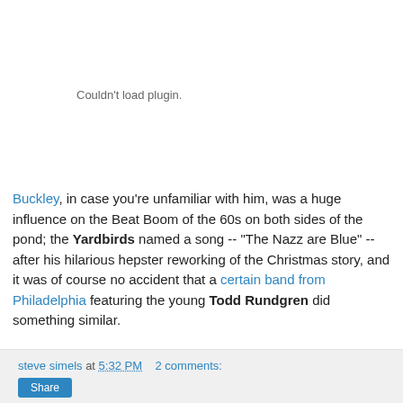[Figure (other): Embedded plugin area showing 'Couldn't load plugin.' error message]
Buckley, in case you're unfamiliar with him, was a huge influence on the Beat Boom of the 60s on both sides of the pond; the Yardbirds named a song -- "The Nazz are Blue" -- after his hilarious hepster reworking of the Christmas story, and it was of course no accident that a certain band from Philadelphia featuring the young Todd Rundgren did something similar.
steve simels at 5:32 PM   2 comments: